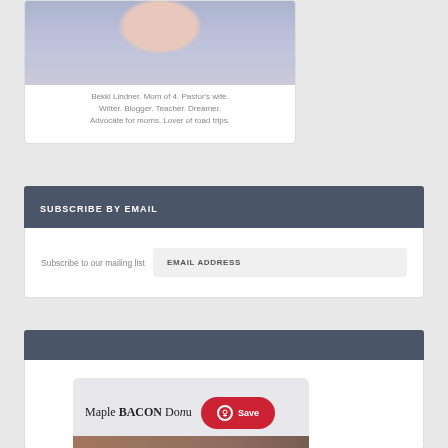[Figure (photo): Photo of Bekki Lindner - woman in floral dress]
Bekki Lindner. Mom of 4. Pastor's wife. Writer. Blogger. Teacher. Dreamer. Advocate for moms. Lover of road trips.
SUBSCRIBE BY EMAIL
Subscribe to our mailing list
EMAIL ADDRESS
[Figure (photo): Maple BACON Donuts image with Pinterest Save button overlay]